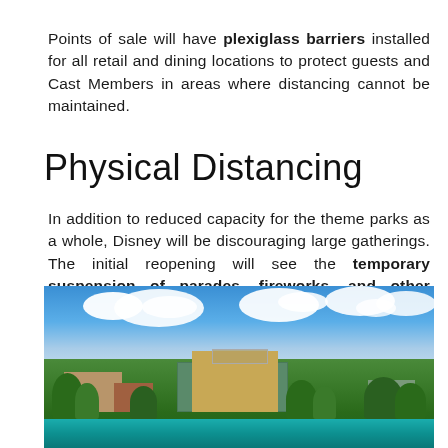Points of sale will have plexiglass barriers installed for all retail and dining locations to protect guests and Cast Members in areas where distancing cannot be maintained.
Physical Distancing
In addition to reduced capacity for the theme parks as a whole, Disney will be discouraging large gatherings. The initial reopening will see the temporary suspension of parades, fireworks, and other events that could create crowds.
[Figure (photo): Outdoor photo of a Disney resort/park area showing buildings including a large structure with a glass facade, surrounded by trees, with a water feature in the foreground and a blue sky with white clouds above.]